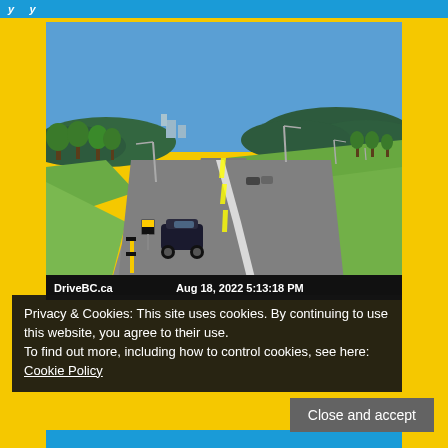y ... y
[Figure (photo): Traffic camera screenshot from DriveBC.ca showing a highway with light traffic, green grass medians and shoulders, trees and hills in the background, and a dark SUV in the left lane. Timestamp: Aug 18, 2022 5:13:18 PM]
Privacy & Cookies: This site uses cookies. By continuing to use this website, you agree to their use.
To find out more, including how to control cookies, see here: Cookie Policy
Close and accept